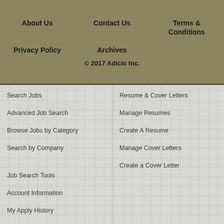About Us | Contact Us | Terms & Conditions | Privacy Policy | Archives | © 2017 Adicio Inc.
Search Jobs
Advanced Job Search
Browse Jobs by Category
Search by Company
Resume & Cover Letters
Manage Resumes
Create A Resume
Manage Cover Letters
Create a Cover Letter
Job Search Tools
Account Information
My Apply History
My Saved Jobs